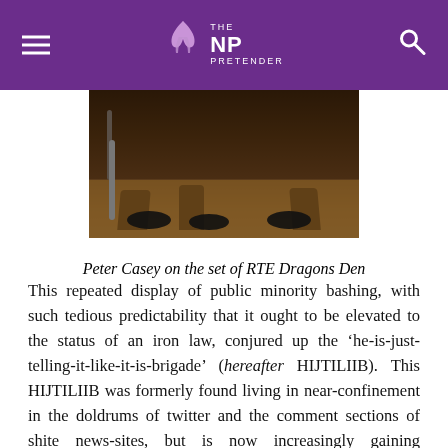THE NEW PRETENDER
[Figure (photo): Peter Casey on the set of RTE Dragons Den — dark scene with shoes/legs visible on a wooden floor]
Peter Casey on the set of RTE Dragons Den
This repeated display of public minority bashing, with such tedious predictability that it ought to be elevated to the status of an iron law, conjured up the ‘he-is-just-telling-it-like-it-is-brigade’ (hereafter HIJTILIIB). This HIJTILIIB was formerly found living in near-confinement in the doldrums of twitter and the comment sections of shite news-sites, but is now increasingly gaining omnipresence. This brigade likes a man who cuts through all the noise, all that do-goody fluffy-fluff. Sticks it to ‘the establishment’. Likes to drain swamps. Also, loves being part of the swamp. Sticks it to the ‘snowflakes,